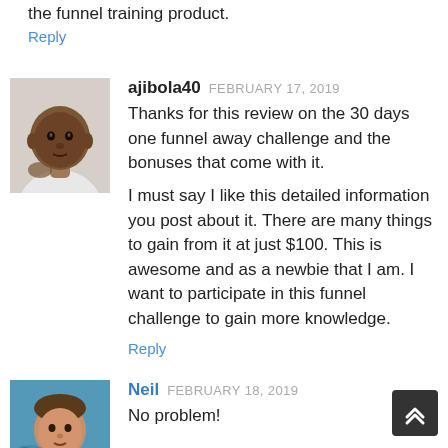the funnel training product.
Reply
ajibola40  FEBRUARY 17, 2019
Thanks for this review on the 30 days one funnel away challenge and the bonuses that come with it.
I must say I like this detailed information you post about it. There are many things to gain from it at just $100. This is awesome and as a newbie that I am. I want to participate in this funnel challenge to gain more knowledge.
Reply
Neil  FEBRUARY 18, 2019
No problem!